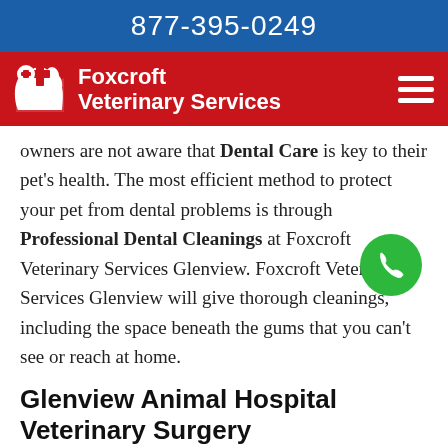877-395-0249
[Figure (logo): Foxcroft Veterinary Services logo: white dog/cat silhouette with red cross on blue shield, white text 'Foxcroft Veterinary Services' on red background navigation bar]
owners are not aware that Dental Care is key to their pet's health. The most efficient method to protect your pet from dental problems is through Professional Dental Cleanings at Foxcroft Veterinary Services Glenview. Foxcroft Veterinary Services Glenview will give thorough cleanings, including the space beneath the gums that you can't see or reach at home.
Glenview Animal Hospital Veterinary Surgery
We are proud to provide Glenview, and neighboring communities with state-of-the-art Veterinary Surgical